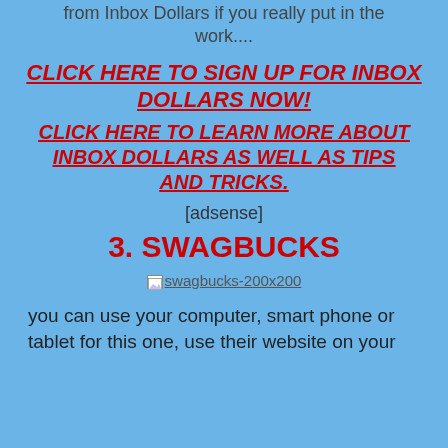from Inbox Dollars if you really put in the work....
CLICK HERE TO SIGN UP FOR INBOX DOLLARS NOW!
CLICK HERE TO LEARN MORE ABOUT INBOX DOLLARS AS WELL AS TIPS AND TRICKS.
[adsense]
3. SWAGBUCKS
[Figure (other): Swagbucks logo image placeholder labeled swagbucks-200x200]
you can use your computer, smart phone or tablet for this one, use their website on your